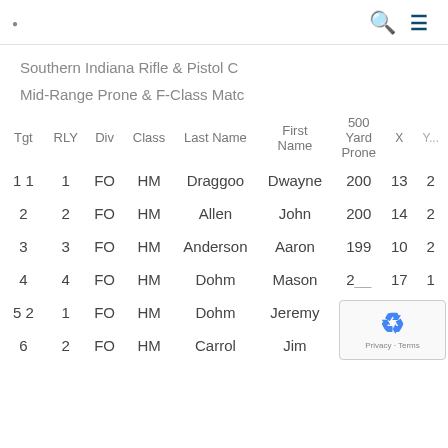Southern Indiana Rifle & Pistol C
Mid-Range Prone & F-Class Matc
| Tgt | RLY | Div | Class | Last Name | First Name | 500 Yard Prone | X | Y... |
| --- | --- | --- | --- | --- | --- | --- | --- | --- |
| 1 1 | 1 | FO | HM | Draggoo | Dwayne | 200 | 13 | 2 |
| 2 | 2 | FO | HM | Allen | John | 200 | 14 | 2 |
| 3 | 3 | FO | HM | Anderson | Aaron | 199 | 10 | 2 |
| 4 | 4 | FO | HM | Dohm | Mason | 2__ | 17 | 1 |
| 5 2 | 1 | FO | HM | Dohm | Jeremy | 1__ |  |  |
| 6 | 2 | FO | HM | Carrol | Jim | 197 | 6 | 1 |